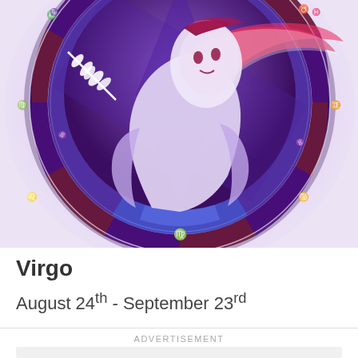[Figure (illustration): Virgo zodiac sign illustration: a circular astrological wheel with purple and dark magenta segments showing zodiac symbols, featuring a large stylized Virgo figure in white and purple tones with flowing hair and a wheat/laurel branch, set against a lavender-purple glowing background]
Virgo
August 24th - September 23rd
ADVERTISEMENT